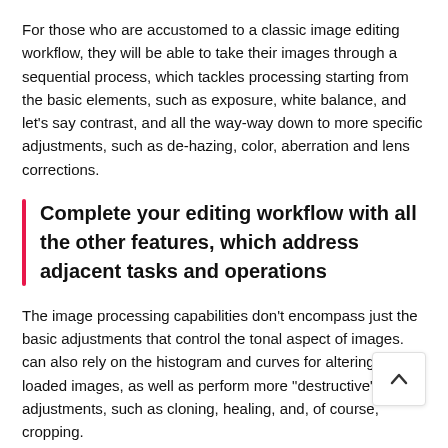For those who are accustomed to a classic image editing workflow, they will be able to take their images through a sequential process, which tackles processing starting from the basic elements, such as exposure, white balance, and let's say contrast, and all the way-way down to more specific adjustments, such as de-hazing, color, aberration and lens corrections.
Complete your editing workflow with all the other features, which address adjacent tasks and operations
The image processing capabilities don't encompass just the basic adjustments that control the tonal aspect of images. can also rely on the histogram and curves for altering the loaded images, as well as perform more "destructive" adjustments, such as cloning, healing, and, of course, cropping.